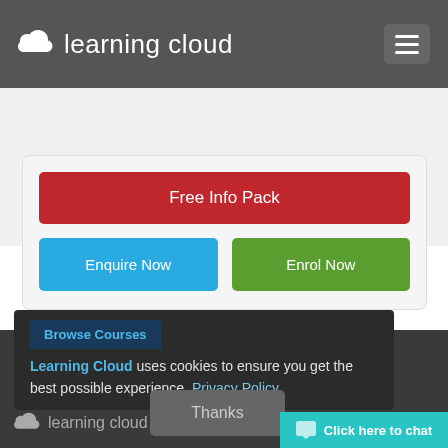learning cloud
[Figure (screenshot): Learning Cloud website screenshot with header, CTA buttons, cookie banner, and footer]
Free Info Pack
Enquire Now
Enrol Now
Browse Courses
Learning Cloud uses cookies to ensure you get the best possible experience. Privacy Policy
Thanks
learning cloud
Click here to chat